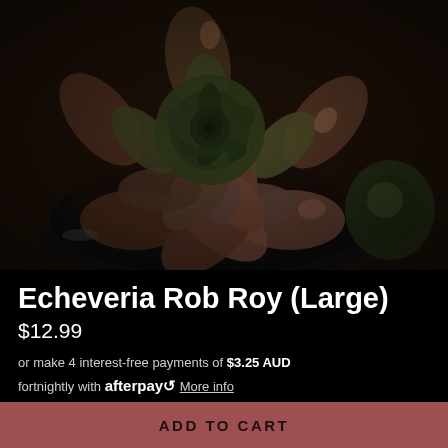[Figure (photo): Top-down photo of an Echeveria Rob Roy succulent plant with dark green and purple/rose-colored leaves arranged in a rosette pattern, sitting in a black pot. Another plant is partially visible in the bottom right.]
Echeveria Rob Roy (Large)
$12.99
or make 4 interest-free payments of $3.25 AUD fortnightly with afterpay  More info
ADD TO CART